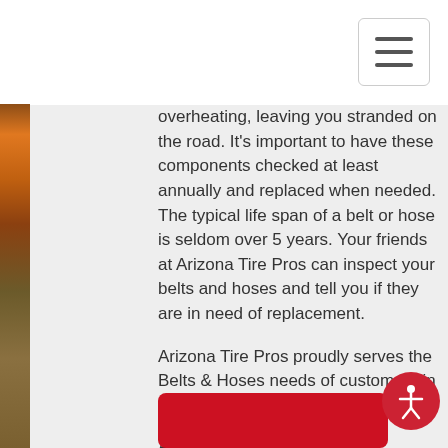[Figure (photo): Left edge strip showing a road/highway at sunset with orange and dark tones]
overheating, leaving you stranded on the road. It's important to have these components checked at least annually and replaced when needed. The typical life span of a belt or hose is seldom over 5 years. Your friends at Arizona Tire Pros can inspect your belts and hoses and tell you if they are in need of replacement.
Arizona Tire Pros proudly serves the Belts & Hoses needs of customers in Mesa, AZ
Areas Served : Mesa, AZ and surrounding areas